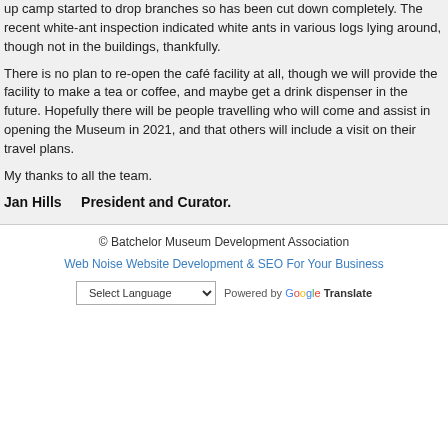up camp started to drop branches so has been cut down completely. The recent white-ant inspection indicated white ants in various logs lying around, though not in the buildings, thankfully.
There is no plan to re-open the café facility at all, though we will provide the facility to make a tea or coffee, and maybe get a drink dispenser in the future. Hopefully there will be people travelling who will come and assist in opening the Museum in 2021, and that others will include a visit on their travel plans.
My thanks to all the team.
Jan Hills     President and Curator.
© Batchelor Museum Development Association
Web Noise Website Development & SEO For Your Business